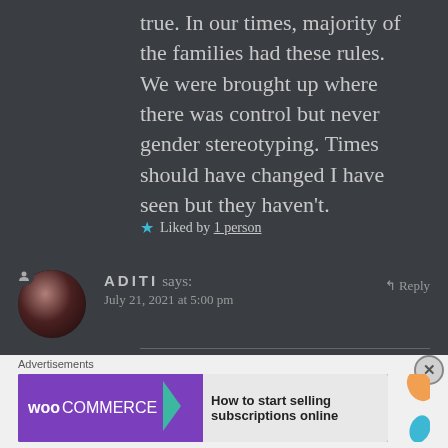true. In our times, majority of the families had these rules. We were brought up where there was control but never gender stereotyping. Times should have changed I have seen but they haven't.
★ Liked by 1 person
ADITI says:
July 21, 2021 at 5:00 pm
↰ Reply
Advertisements
[Figure (screenshot): WooCommerce advertisement banner with text 'How to start selling subscriptions online']